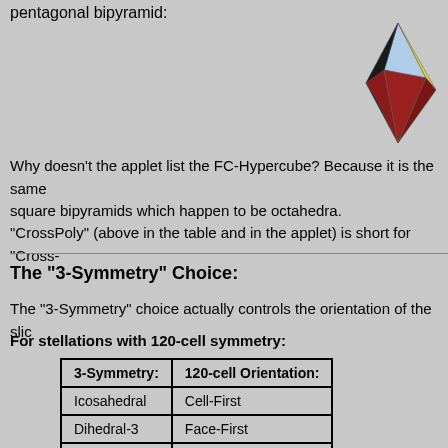pentagonal bipyramid:
[Figure (illustration): 3D geometric shape - a colorful bipyramid with blue, light blue, yellow, dark/black, and dark red faces]
Why doesn't the applet list the FC-Hypercube? Because it is the same square bipyramids which happen to be octahedra.
"CrossPoly" (above in the table and in the applet) is short for "Cross-
The "3-Symmetry" Choice:
The "3-Symmetry" choice actually controls the orientation of the slic
For stellations with 120-cell symmetry:
| 3-Symmetry: | 120-cell Orientation: |
| --- | --- |
| Icosahedral | Cell-First |
| Dihedral-3 | Face-First |
| Dihedral-5 | Edge-First |